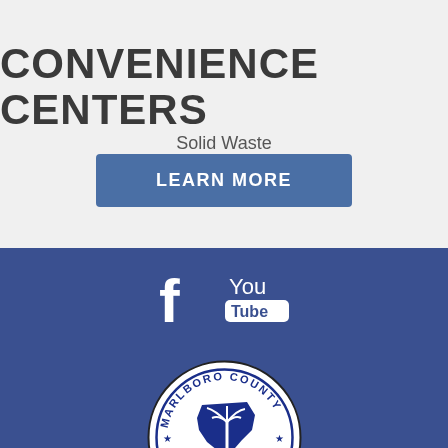CONVENIENCE CENTERS
Solid Waste
LEARN MORE
[Figure (logo): Facebook icon (white f on dark blue background)]
[Figure (logo): YouTube icon (You Tube text with rounded rectangle, white on dark blue)]
[Figure (logo): Marlboro County South Carolina seal - circular seal with state outline, palmetto tree, crescent moon, stars, and date 1785]